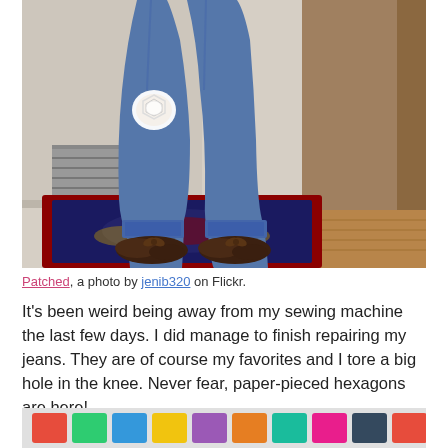[Figure (photo): Photo of person's lower legs wearing blue jeans with a white hexagon lace patch on the knee, dark brown moccasin shoes with bows, standing on a patterned rug near a wooden door frame and hardwood floor.]
Patched, a photo by jenib320 on Flickr.
It's been weird being away from my sewing machine the last few days. I did manage to finish repairing my jeans. They are of course my favorites and I tore a big hole in the knee. Never fear, paper-pieced hexagons are here!
[Figure (photo): Partial view of colorful fabric or paper hexagons, cropped at bottom of page.]